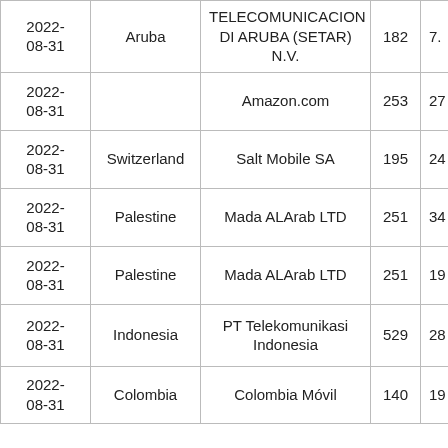| 2022-08-31 | Aruba | TELECOMUNICACION DI ARUBA (SETAR) N.V. | 182 | 7. |
| 2022-08-31 |  | Amazon.com | 253 | 27 |
| 2022-08-31 | Switzerland | Salt Mobile SA | 195 | 24 |
| 2022-08-31 | Palestine | Mada ALArab LTD | 251 | 34 |
| 2022-08-31 | Palestine | Mada ALArab LTD | 251 | 19 |
| 2022-08-31 | Indonesia | PT Telekomunikasi Indonesia | 529 | 28 |
| 2022-08-31 | Colombia | Colombia Móvil | 140 | 19 |